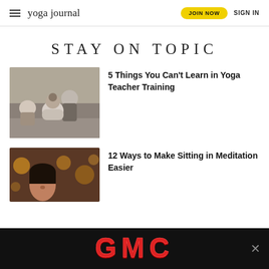yoga journal | JOIN NOW | SIGN IN
STAY ON TOPIC
[Figure (photo): Yoga class with students seated on mats, instructor in background, view from behind a student with hair bun]
5 Things You Can't Learn in Yoga Teacher Training
[Figure (photo): Woman meditating with eyes closed, warm golden bokeh lights in background]
12 Ways to Make Sitting in Meditation Easier
[Figure (photo): GMC advertisement banner with red GMC logo on black background]